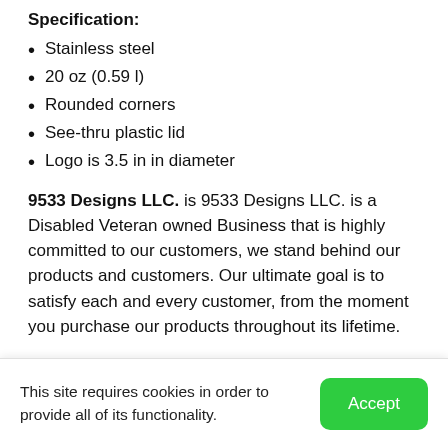Specification:
Stainless steel
20 oz (0.59 l)
Rounded corners
See-thru plastic lid
Logo is 3.5 in in diameter
9533 Designs LLC. is 9533 Designs LLC. is a Disabled Veteran owned Business that is highly committed to our customers, we stand behind our products and customers. Our ultimate goal is to satisfy each and every customer, from the moment you purchase our products throughout its lifetime.
Recommended for you
CHERRY PICKED
This site requires cookies in order to provide all of its functionality.